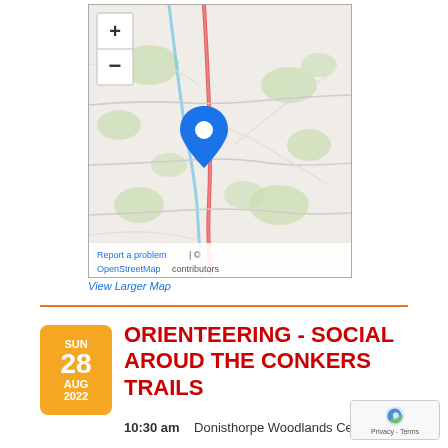[Figure (map): OpenStreetMap interactive map showing a location near Donisthorpe with a blue map pin marker, zoom controls (+/-) in upper left, and attribution text 'Report a problem | © OpenStreetMap contributors' at the bottom.]
View Larger Map
[Figure (infographic): Orange rounded rectangle date badge showing SUN 28 AUG 2022]
ORIENTEERING - SOCIAL AROUD THE CONKERS TRAILS
10:30 am   Donisthorpe Woodlands Centre 7DY